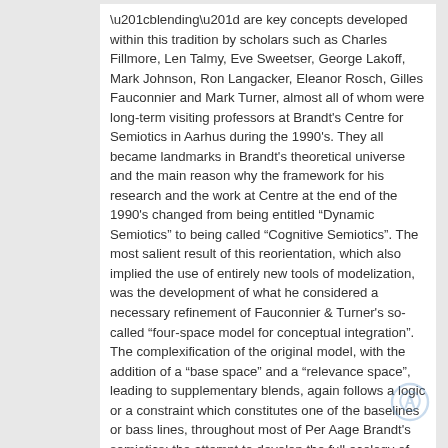“blending” are key concepts developed within this tradition by scholars such as Charles Fillmore, Len Talmy, Eve Sweetser, George Lakoff, Mark Johnson, Ron Langacker, Eleanor Rosch, Gilles Fauconnier and Mark Turner, almost all of whom were long-term visiting professors at Brandt’s Centre for Semiotics in Aarhus during the 1990’s. They all became landmarks in Brandt’s theoretical universe and the main reason why the framework for his research and the work at Centre at the end of the 1990’s changed from being entitled “Dynamic Semiotics” to being called “Cognitive Semiotics”. The most salient result of this reorientation, which also implied the use of entirely new tools of modelization, was the development of what he considered a necessary refinement of Fauconnier & Turner’s so-called “four-space model for conceptual integration”. The complexification of the original model, with the addition of a “base space” and a “relevance space”, leading to supplementary blends, again follows a logic or a constraint which constitutes one of the baselines or bass lines, throughout most of Per Aage Brandt’s semiotics: the attempt to develop the full ecology of human meaning-making. So, whereas Fauconnier & Turner’s model leaves four spaces for the cognitive...